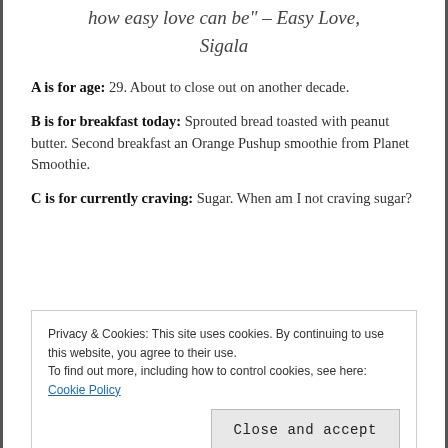how easy love can be" – Easy Love, Sigala
A is for age: 29. About to close out on another decade.
B is for breakfast today: Sprouted bread toasted with peanut butter. Second breakfast an Orange Pushup smoothie from Planet Smoothie.
C is for currently craving: Sugar. When am I not craving sugar?
Privacy & Cookies: This site uses cookies. By continuing to use this website, you agree to their use. To find out more, including how to control cookies, see here: Cookie Policy
Close and accept
E is for favorite type of exercise: Pure Barre, duh.